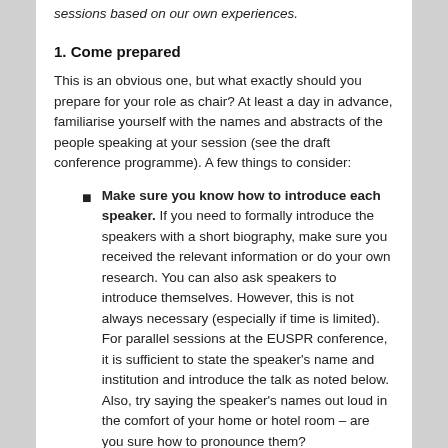sessions based on our own experiences.
1. Come prepared
This is an obvious one, but what exactly should you prepare for your role as chair? At least a day in advance, familiarise yourself with the names and abstracts of the people speaking at your session (see the draft conference programme). A few things to consider:
Make sure you know how to introduce each speaker. If you need to formally introduce the speakers with a short biography, make sure you received the relevant information or do your own research. You can also ask speakers to introduce themselves. However, this is not always necessary (especially if time is limited). For parallel sessions at the EUSPR conference, it is sufficient to state the speaker's name and institution and introduce the talk as noted below. Also, try saying the speaker's names out loud in the comfort of your home or hotel room – are you sure how to pronounce them?